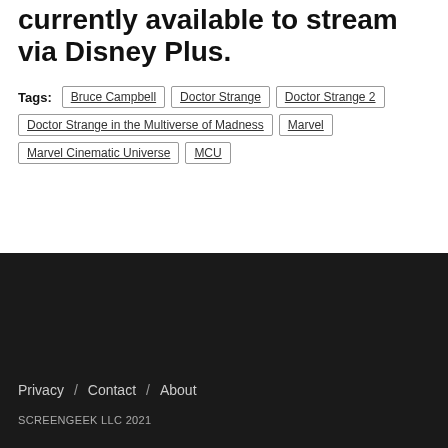currently available to stream via Disney Plus.
Tags: Bruce Campbell, Doctor Strange, Doctor Strange 2, Doctor Strange in the Multiverse of Madness, Marvel, Marvel Cinematic Universe, MCU
Privacy / Contact / About
SCREENGEEK LLC 2021